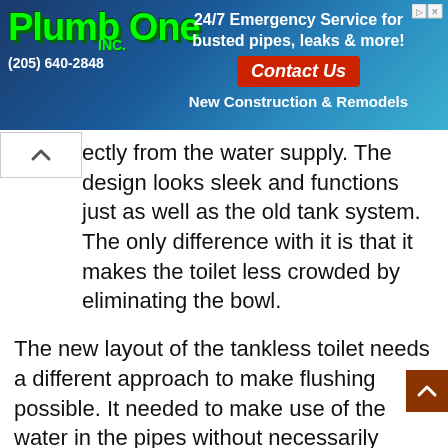[Figure (advertisement): Plumb One Inc. advertisement banner. Logo with green stylized text 'Plumb One INC.' on blue swirling background. Phone number (205) 640-2848. Text: '24/7 Emergency Service for busted pipes, leaks & more!' with red 'Contact Us' button. 'New Construction & Remodels' text.]
ectly from the water supply. The design looks sleek and functions just as well as the old tank system. The only difference with it is that it makes the toilet less crowded by eliminating the bowl.
The new layout of the tankless toilet needs a different approach to make flushing possible. It needed to make use of the water in the pipes without necessarily storing it anywhere else. Unlike the old toilet, this tank normally has an electric pump to pump the flush instead of gravity and atmospheric pressure.
Other layouts usually make use of the pressure of water stored in the storage tanks supplying water